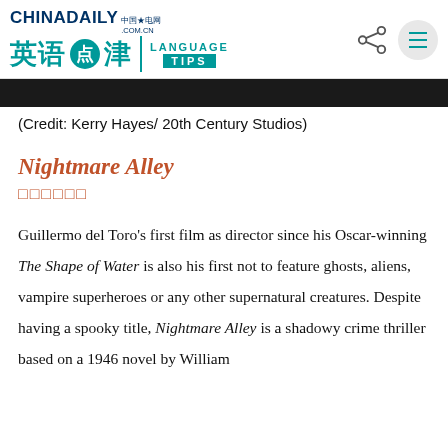CHINADAILY .COM.CN 英语点津 | LANGUAGE TIPS
[Figure (photo): Dark image strip at top of article, appears to be a movie still cropped to a narrow band]
(Credit: Kerry Hayes/ 20th Century Studios)
Nightmare Alley
噩梦小巷（Chinese title placeholder characters）
Guillermo del Toro's first film as director since his Oscar-winning The Shape of Water is also his first not to feature ghosts, aliens, vampire superheroes or any other supernatural creatures. Despite having a spooky title, Nightmare Alley is a shadowy crime thriller based on a 1946 novel by William